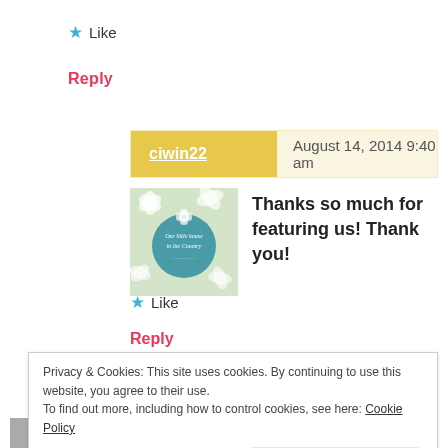★ Like
Reply
ciwin22  August 14, 2014 9:40 am
[Figure (illustration): Circular avatar badge with floral pattern background and text 'Our little house in the Country']
Thanks so much for featuring us! Thank you!
★ Like
Reply
Privacy & Cookies: This site uses cookies. By continuing to use this website, you agree to their use.
To find out more, including how to control cookies, see here: Cookie Policy
Close and accept
would love getting to use her fingers in